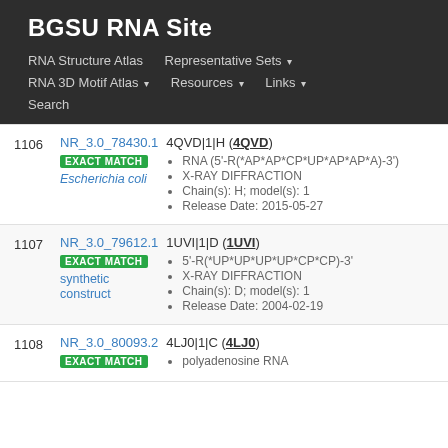BGSU RNA Site
RNA Structure Atlas | Representative Sets ▾ | RNA 3D Motif Atlas ▾ | Resources ▾ | Links ▾ | Search
| # | NR ID / Match / Species | Entry Details |
| --- | --- | --- |
| 1106 | NR_3.0_78430.1
EXACT MATCH
Escherichia coli | 4QVD|1|H (4QVD)
• RNA (5'-R(*AP*AP*CP*UP*AP*AP*A)-3')
• X-RAY DIFFRACTION
• Chain(s): H; model(s): 1
• Release Date: 2015-05-27 |
| 1107 | NR_3.0_79612.1
EXACT MATCH
synthetic construct | 1UVI|1|D (1UVI)
• 5'-R(*UP*UP*UP*UP*CP*CP)-3'
• X-RAY DIFFRACTION
• Chain(s): D; model(s): 1
• Release Date: 2004-02-19 |
| 1108 | NR_3.0_80093.2
EXACT MATCH
 | 4LJ0|1|C (4LJ0)
• polyadenosine RNA |